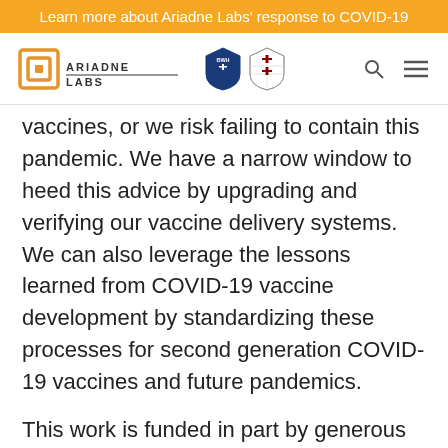Learn more about Ariadne Labs' response to COVID-19
[Figure (logo): Ariadne Labs logo with BWH and Harvard shield partner logos, plus search and menu icons]
vaccines, or we risk failing to contain this pandemic. We have a narrow window to heed this advice by upgrading and verifying our vaccine delivery systems. We can also leverage the lessons learned from COVID-19 vaccine development by standardizing these processes for second generation COVID-19 vaccines and future pandemics.
This work is funded in part by generous support from the Patrick J. McGovern Foundation.